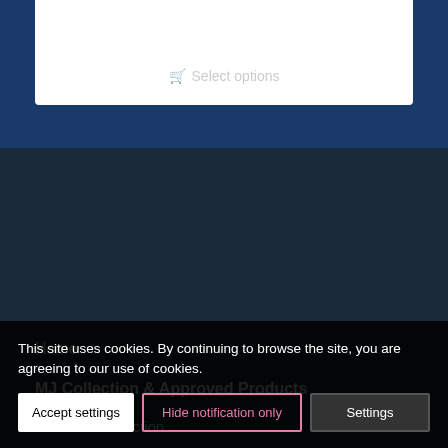[Figure (screenshot): White card with a faded 'Select options' button with cart icon, on a dark blue background]
Home
MJ Collection & Approved Products
· MJ Collection
· Ascent Nutrition
· C60 Evo
· Detoxacream
This site uses cookies. By continuing to browse the site, you are agreeing to our use of cookies.
Accept settings | Hide notification only | Settings